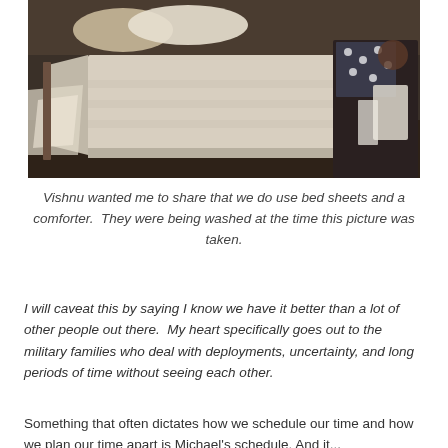[Figure (photo): Interior bedroom photo showing a bed with bare mattress, pillows at the top, and various items of clothing or fabric on the right side near a dark piece of furniture. The room appears somewhat cluttered.]
Vishnu wanted me to share that we do use bed sheets and a comforter.  They were being washed at the time this picture was taken.
I will caveat this by saying I know we have it better than a lot of other people out there.  My heart specifically goes out to the military families who deal with deployments, uncertainty, and long periods of time without seeing each other.
Something that often dictates how we schedule our time and how we plan our time apart is Michael's schedule. And it...